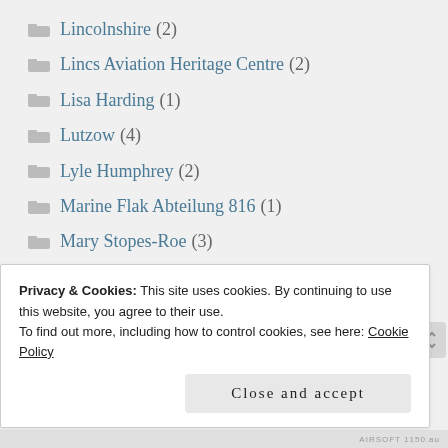Lincolnshire (2)
Lincs Aviation Heritage Centre (2)
Lisa Harding (1)
Lutzow (4)
Lyle Humphrey (2)
Marine Flak Abteilung 816 (1)
Mary Stopes-Roe (3)
Maule Colledge (1)
Max Smith (1)
Privacy & Cookies: This site uses cookies. By continuing to use this website, you agree to their use.
To find out more, including how to control cookies, see here: Cookie Policy
Close and accept